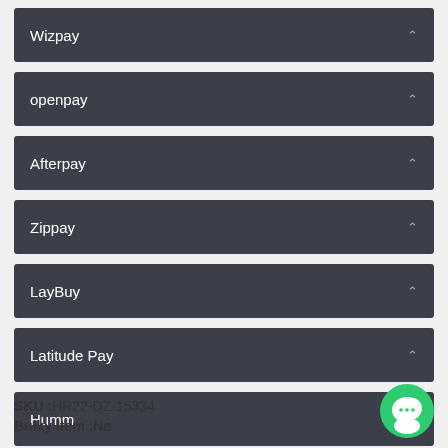Wizpay
openpay
Afterpay
Zippay
LayBuy
Latitude Pay
Humm
SKU :HR22-DZ-15334
Bulky Item :No